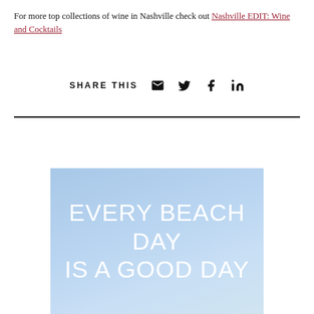For more top collections of wine in Nashville check out Nashville EDIT: Wine and Cocktails
SHARE THIS
[Figure (illustration): Social share icons: email envelope, Twitter bird, Facebook f, LinkedIn in]
[Figure (photo): Blue sky gradient image with white text reading EVERY BEACH DAY IS A GOOD DAY]